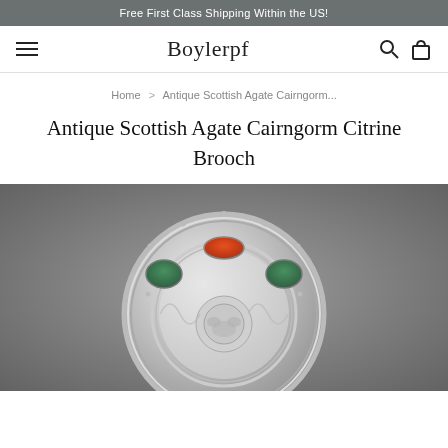Free First Class Shipping Within the US!
Boylerpf
Home > Antique Scottish Agate Cairngorm...
Antique Scottish Agate Cairngorm Citrine Brooch
[Figure (photo): Close-up photograph of an antique Scottish Agate Cairngorm Citrine brooch on a grey background. The brooch is circular, silver-toned with intricate metalwork, featuring red carnelian and green agate stones at the top.]